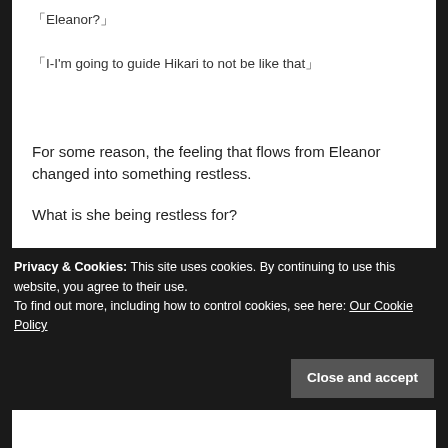「Eleanor?」
「I-I’m going to guide Hikari to not be like that」
For some reason, the feeling that flows from Eleanor changed into something restless.
What is she being restless for?
「You don’t need to worry about Hikari. She’s my
Privacy & Cookies: This site uses cookies. By continuing to use this website, you agree to their use.
To find out more, including how to control cookies, see here: Our Cookie Policy
Close and accept